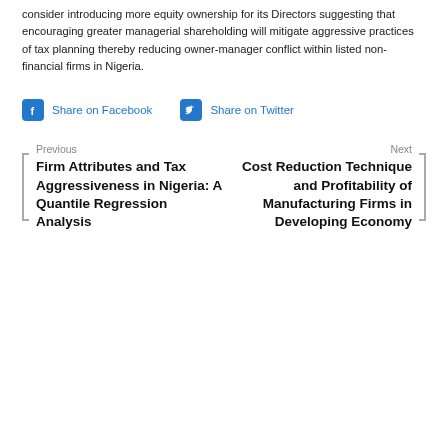consider introducing more equity ownership for its Directors suggesting that encouraging greater managerial shareholding will mitigate aggressive practices of tax planning thereby reducing owner-manager conflict within listed non-financial firms in Nigeria.
Share on Facebook  Share on Twitter
Previous
Firm Attributes and Tax Aggressiveness in Nigeria: A Quantile Regression Analysis
Next
Cost Reduction Technique and Profitability of Manufacturing Firms in Developing Economy